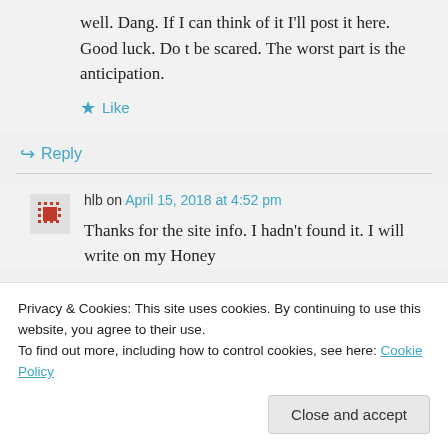well. Dang. If I can think of it I'll post it here. Good luck. Do t be scared. The worst part is the anticipation.
★ Like
↪ Reply
hlb on April 15, 2018 at 4:52 pm
Thanks for the site info. I hadn't found it. I will write on my Honey
Privacy & Cookies: This site uses cookies. By continuing to use this website, you agree to their use.
To find out more, including how to control cookies, see here: Cookie Policy
Close and accept